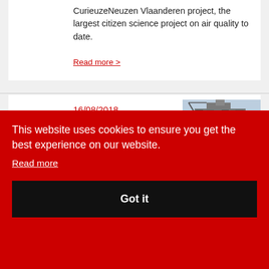CurieuzeNeuzen Vlaanderen project, the largest citizen science project on air quality to date.
Read more >
16/08/2018
Norther Offshore High Voltage
[Figure (photo): Offshore high voltage platform structure photographed from below, showing industrial steel framework and equipment]
This website uses cookies to ensure you get the best experience on our website.
Read more
Got it